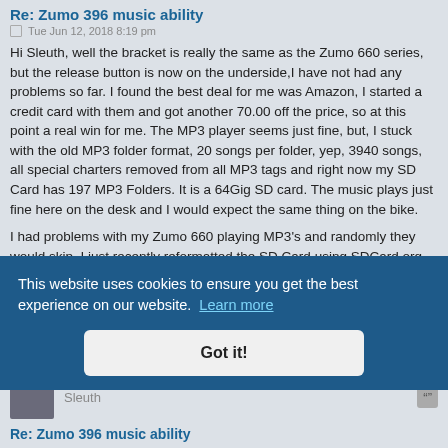Re: Zumo 396 music ability
Tue Jun 12, 2018 8:19 pm
Hi Sleuth, well the bracket is really the same as the Zumo 660 series, but the release button is now on the underside,I have not had any problems so far. I found the best deal for me was Amazon, I started a credit card with them and got another 70.00 off the price, so at this point a real win for me. The MP3 player seems just fine, but, I stuck with the old MP3 folder format, 20 songs per folder, yep, 3940 songs, all special charters removed from all MP3 tags and right now my SD Card has 197 MP3 Folders. It is a 64Gig SD card. The music plays just fine here on the desk and I would expect the same thing on the bike.
I had problems with my Zumo 660 playing MP3's and randomly they would skip, I just recently reformatted the SD Card using SDCard.org formatter and the MP3's on the Zumo 660 have not skipped since. So, I did use the SD Formatter on the new SD Card I have in the Zumo 396. The display is smaller than the Zumo 660 but it is square which gives it the appearance of being bigger by a slim margin. I comply with it and have a le...
This website uses cookies to ensure you get the best experience on our website.  Learn more
Got it!
Sleuth
Re: Zumo 396 music ability